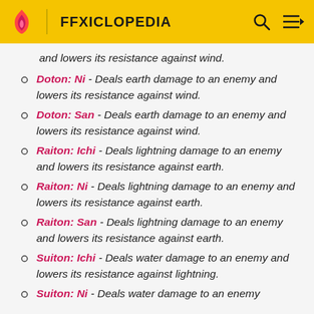FFXICLOPEDIA
and lowers its resistance against wind.
Doton: Ni - Deals earth damage to an enemy and lowers its resistance against wind.
Doton: San - Deals earth damage to an enemy and lowers its resistance against wind.
Raiton: Ichi - Deals lightning damage to an enemy and lowers its resistance against earth.
Raiton: Ni - Deals lightning damage to an enemy and lowers its resistance against earth.
Raiton: San - Deals lightning damage to an enemy and lowers its resistance against earth.
Suiton: Ichi - Deals water damage to an enemy and lowers its resistance against lightning.
Suiton: Ni - Deals water damage to an enemy